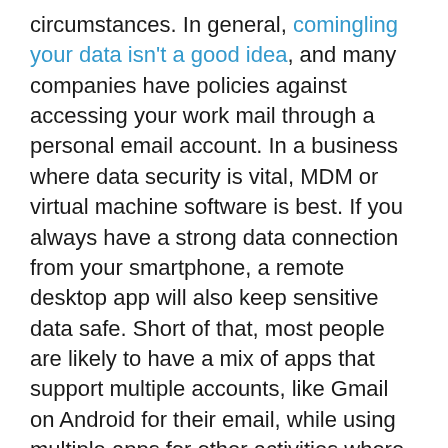circumstances. In general, comingling your data isn't a good idea, and many companies have policies against accessing your work mail through a personal email account. In a business where data security is vital, MDM or virtual machine software is best. If you always have a strong data connection from your smartphone, a remote desktop app will also keep sensitive data safe. Short of that, most people are likely to have a mix of apps that support multiple accounts, like Gmail on Android for their email, while using multiple apps for other activities where one app can't do both.